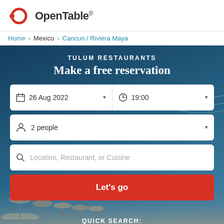[Figure (logo): OpenTable logo with red donut/circle icon and bold black wordmark]
Home / Mexico / Cancun / Riviera Maya
TULUM RESTAURANTS
Make a free reservation
[Figure (screenshot): Reservation search form with date (26 Aug 2022), time (19:00), party size (2 people), and location/restaurant/cuisine text field, with a red Let's go button]
QUICK SEARCH: